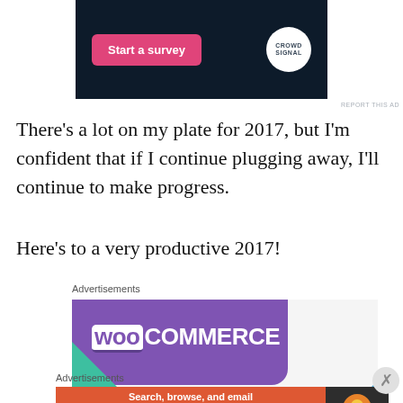[Figure (screenshot): Crowdsignal ad banner with dark navy background, pink 'Start a survey' button and Crowdsignal circular logo]
REPORT THIS AD
There's a lot on my plate for 2017, but I'm confident that if I continue plugging away, I'll continue to make progress.
Here's to a very productive 2017!
Advertisements
[Figure (screenshot): WooCommerce advertisement banner with purple diagonal shape and teal accent]
Advertisements
[Figure (screenshot): DuckDuckGo advertisement: 'Search, browse, and email with more privacy. All in One Free App']